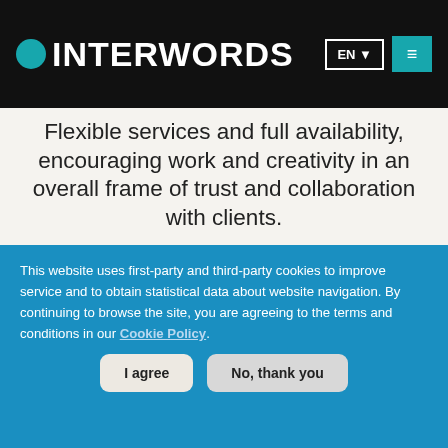INTERWORDS — EN ▼ ≡
Flexible services and full availability, encouraging work and creativity in an overall frame of trust and collaboration with clients.
[Figure (photo): Dark photo strip showing people in a group or meeting setting]
This website uses first-party and third-party cookies to improve service and to obtain statistical data about website navigation. By continuing to browse the site, you are agreeing to the terms and conditions in our Cookie Policy.
I agree
No, thank you